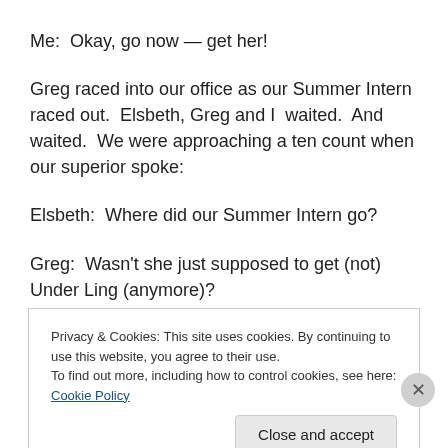Me:  Okay, go now — get her!
Greg raced into our office as our Summer Intern raced out.  Elsbeth, Greg and I  waited.  And waited.  We were approaching a ten count when our superior spoke:
Elsbeth:  Where did our Summer Intern go?
Greg:  Wasn't she just supposed to get (not) Under Ling (anymore)?
Annoyed, I left our office, and thoroughly scoured our
Privacy & Cookies: This site uses cookies. By continuing to use this website, you agree to their use.
To find out more, including how to control cookies, see here: Cookie Policy
Close and accept